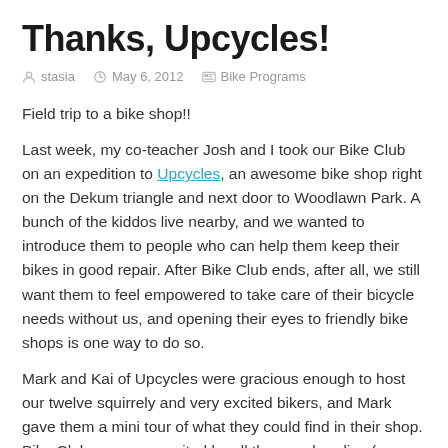Thanks, Upcycles!
stasia   May 6, 2012   Bike Programs
Field trip to a bike shop!!
Last week, my co-teacher Josh and I took our Bike Club on an expedition to Upcycles, an awesome bike shop right on the Dekum triangle and next door to Woodlawn Park. A bunch of the kiddos live nearby, and we wanted to introduce them to people who can help them keep their bikes in good repair. After Bike Club ends, after all, we still want them to feel empowered to take care of their bicycle needs without us, and opening their eyes to friendly bike shops is one way to do so.
Mark and Kai of Upcycles were gracious enough to host our twelve squirrely and very excited bikers, and Mark gave them a mini tour of what they could find in their shop. Bike Club was very excited by all the merchandise (a surprising amount of necessaries for a little space!), the bikes lined up along the wall (including a rockin' bicycle), the bike in the stand that Mark had been working on...